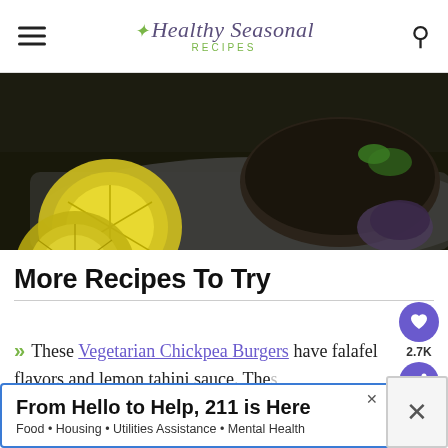Healthy Seasonal Recipes
[Figure (photo): Close-up dark food photo with yellow lemon slices and a dark bowl, on a grey textured surface with dark background]
More Recipes To Try
These Vegetarian Chickpea Burgers have falafel flavors and lemon tahini sauce. The fast and easy for a Meatless Monday!
2.7K
[Figure (infographic): Advertisement banner: From Hello to Help, 211 is Here. Food · Housing · Utilities Assistance · Mental Health]